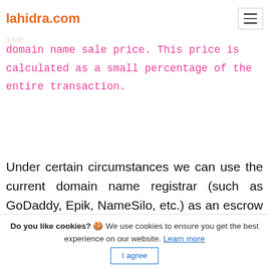lahidra.com
The escrow services must be paid by the buyer and are not included in the domain name sale price. This price is calculated as a small percentage of the entire transaction.
Under certain circumstances we can use the current domain name registrar (such as GoDaddy, Epik, NameSilo, etc.) as an escrow agent to have a very fast (almost instant)
Do you like cookies? 🍪 We use cookies to ensure you get the best experience on our website. Learn more  I agree